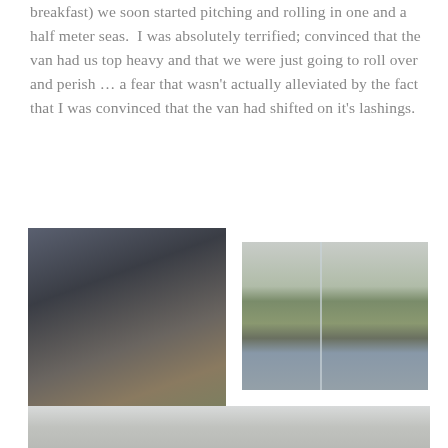breakfast) we soon started pitching and rolling in one and a half meter seas.  I was absolutely terrified; convinced that the van had us top heavy and that we were just going to roll over and perish … a fear that wasn't actually alleviated by the fact that I was convinced that the van had shifted on it's lashings.
[Figure (photo): A person sitting inside a boat/ferry cabin, leaning forward, surrounded by gear and equipment]
[Figure (photo): View through a window of a green coastal landscape with water and overcast sky]
[Figure (photo): Partial view of what appears to be an interior ceiling or overhead structure, white/light coloured]